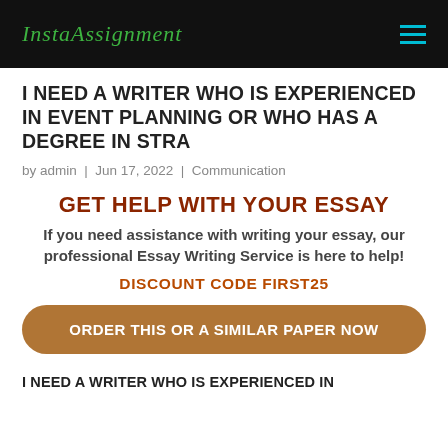InstaAssignment
I NEED A WRITER WHO IS EXPERIENCED IN EVENT PLANNING OR WHO HAS A DEGREE IN STRA
by admin | Jun 17, 2022 | Communication
GET HELP WITH YOUR ESSAY
If you need assistance with writing your essay, our professional Essay Writing Service is here to help!
DISCOUNT CODE FIRST25
ORDER THIS OR A SIMILAR PAPER NOW
I NEED A WRITER WHO IS EXPERIENCED IN